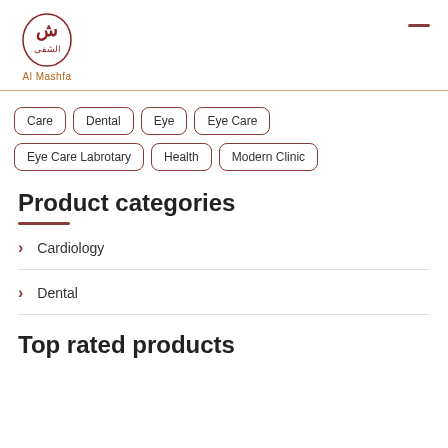[Figure (logo): Al Mashfa logo with Arabic calligraphy in dark red and brand name below]
Care
Dental
Eye
Eye Care
Eye Care Labrotary
Health
Modern Clinic
Product categories
Cardiology
Dental
Top rated products